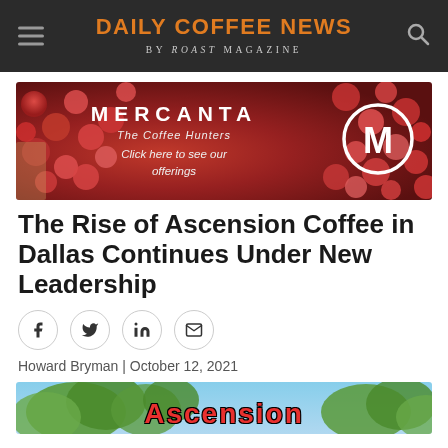DAILY COFFEE NEWS by roast MAGAZINE
[Figure (photo): Mercanta The Coffee Hunters advertisement banner. Red coffee cherries fill the background. Text reads: MERCANTA, The Coffee Hunters, Click here to see our offerings. Circular M logo on the right.]
The Rise of Ascension Coffee in Dallas Continues Under New Leadership
[Figure (infographic): Social sharing icon row: Facebook, Twitter, LinkedIn, Email icons in circular bordered buttons]
Howard Bryman | October 12, 2021
[Figure (photo): Bottom portion of article image showing green trees and sky with 'Ascension' text in bold red letters]